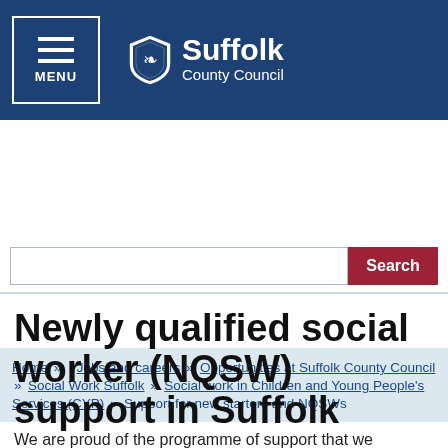Suffolk County Council — MENU / navigation header
Search
Home » Jobs and careers » Opportunities at Suffolk County Council » Social Work Suffolk » Social work in Children and Young People's Services (CYP) » Support for new starters and NQSWs
Newly qualified social worker (NQSW) support in Suffolk
We are proud of the programme of support that we